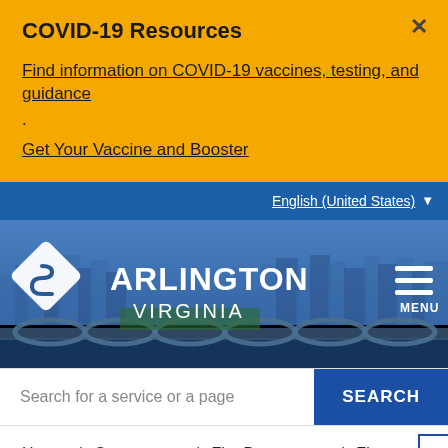COVID-19 Resources
Find information on COVID-19 vaccines, testing, and guidance
.
Get Your Vaccine and Booster
English (United States)
[Figure (logo): Arlington Virginia government logo with diamond shape icon and white text on blue hero image background with cityscape]
Search for a service or a page
SEARCH
Home / Government / Fire Department / Fire Prevention Office